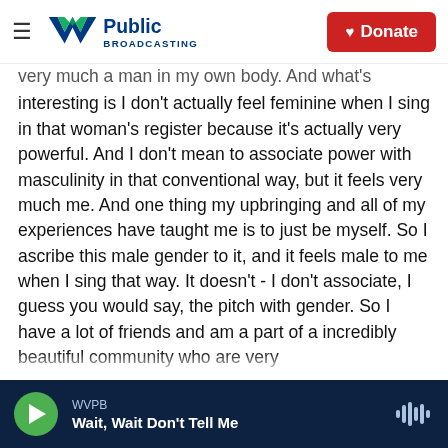WV Public Broadcasting — Donate
very much a man in my own body. And what's interesting is I don't actually feel feminine when I sing in that woman's register because it's actually very powerful. And I don't mean to associate power with masculinity in that conventional way, but it feels very much me. And one thing my upbringing and all of my experiences have taught me is to just be myself. So I ascribe this male gender to it, and it feels male to me when I sing that way. It doesn't - I don't associate, I guess you would say, the pitch with gender. So I have a lot of friends and am a part of a incredibly beautiful community who are very
WVPB — Wait, Wait Don't Tell Me